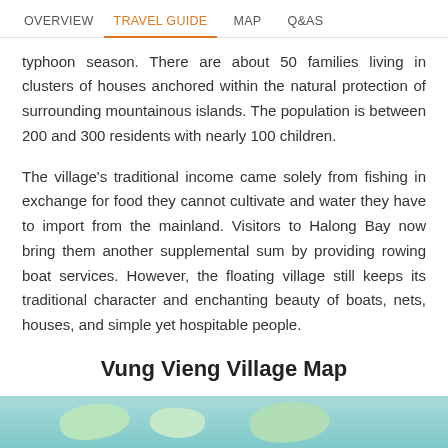OVERVIEW  TRAVEL GUIDE  MAP  Q&AS
typhoon season. There are about 50 families living in clusters of houses anchored within the natural protection of surrounding mountainous islands. The population is between 200 and 300 residents with nearly 100 children.
The village's traditional income came solely from fishing in exchange for food they cannot cultivate and water they have to import from the mainland. Visitors to Halong Bay now bring them another supplemental sum by providing rowing boat services. However, the floating village still keeps its traditional character and enchanting beauty of boats, nets, houses, and simple yet hospitable people.
Vung Vieng Village Map
[Figure (map): Bottom portion of a map preview showing Vung Vieng Village area with water (teal/cyan) and land masses (green) visible]